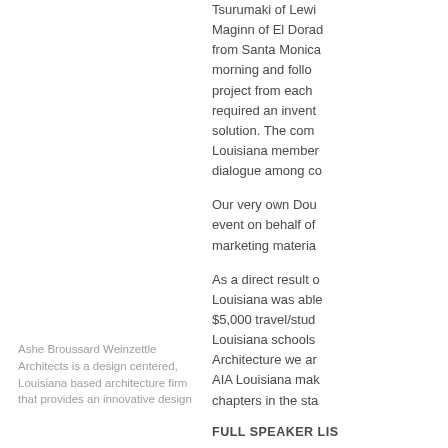Tsurumaki of Lewi… Maginn of El Dorad… from Santa Monica… morning and follo… project from each… required an invent… solution. The com… Louisiana member… dialogue among co…
Our very own Dou… event on behalf of… marketing materia…
As a direct result o… Louisiana was able… $5,000 travel/stud… Louisiana schools… Architecture we ar… AIA Louisiana mak… chapters in the sta…
FULL SPEAKER LIS
Ashe Broussard Weinzettle Architects is a design centered, Louisiana based architecture firm that provides an innovative design